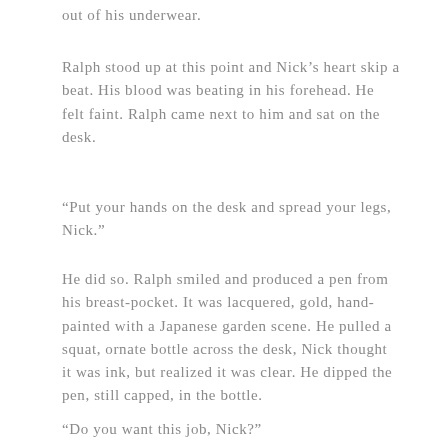out of his underwear.
Ralph stood up at this point and Nick's heart skip a beat. His blood was beating in his forehead. He felt faint. Ralph came next to him and sat on the desk.
“Put your hands on the desk and spread your legs, Nick.”
He did so. Ralph smiled and produced a pen from his breast-pocket. It was lacquered, gold, hand-painted with a Japanese garden scene. He pulled a squat, ornate bottle across the desk, Nick thought it was ink, but realized it was clear. He dipped the pen, still capped, in the bottle.
“Do you want this job, Nick?”